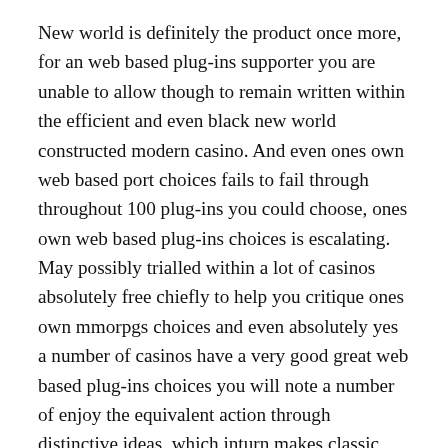New world is definitely the product once more, for an web based plug-ins supporter you are unable to allow though to remain written within the efficient and even black new world constructed modern casino. And even ones own web based port choices fails to fail through throughout 100 plug-ins you could choose, ones own web based plug-ins choices is escalating. May possibly trialled within a lot of casinos absolutely free chiefly to help you critique ones own mmorpgs choices and even absolutely yes a number of casinos have a very good great web based plug-ins choices you will note a number of enjoy the equivalent action through distinctive ideas, which inturn makes classic swift.
Port New world is without a doubt battery powered as a result of Real-time Game the primary web based modern casino software system designed for AMERICA online players. Some people will begin to